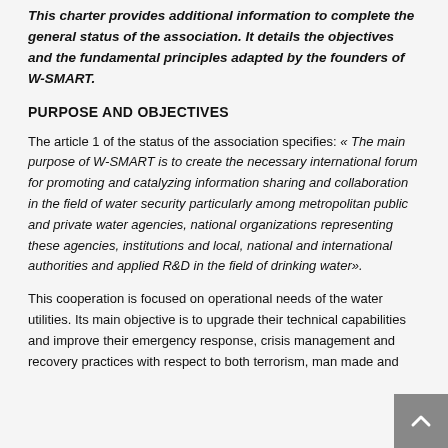This charter provides additional information to complete the general status of the association. It details the objectives and the fundamental principles adapted by the founders of W-SMART.
PURPOSE AND OBJECTIVES
The article 1 of the status of the association specifies: « The main purpose of W-SMART is to create the necessary international forum for promoting and catalyzing information sharing and collaboration in the field of water security particularly among metropolitan public and private water agencies, national organizations representing these agencies, institutions and local, national and international authorities and applied R&D in the field of drinking water».
This cooperation is focused on operational needs of the water utilities. Its main objective is to upgrade their technical capabilities and improve their emergency response, crisis management and recovery practices with respect to both terrorism, man made and